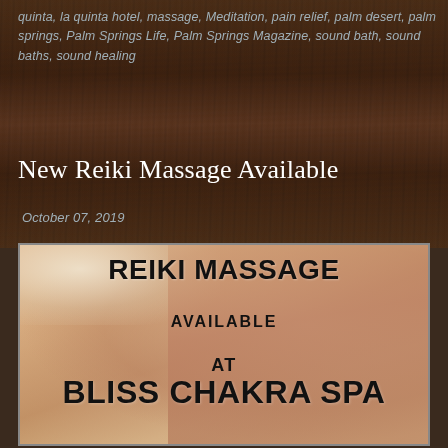quinta, la quinta hotel, massage, Meditation, pain relief, palm desert, palm springs, Palm Springs Life, Palm Springs Magazine, sound bath, sound baths, sound healing
New Reiki Massage Available
October 07, 2019
[Figure (illustration): Promotional advertisement image with text overlay on a massage background photo. Text reads: REIKI MASSAGE AVAILABLE AT BLISS CHAKRA SPA]